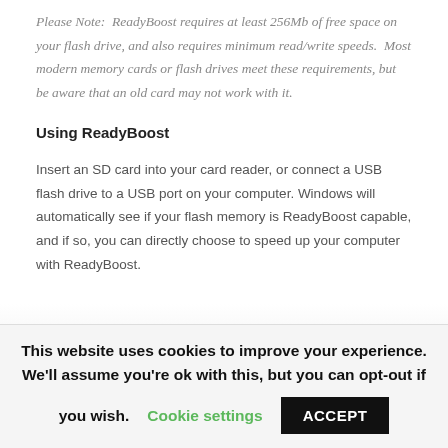Please Note:  ReadyBoost requires at least 256Mb of free space on your flash drive, and also requires minimum read/write speeds.  Most modern memory cards or flash drives meet these requirements, but be aware that an old card may not work with it.
Using ReadyBoost
Insert an SD card into your card reader, or connect a USB flash drive to a USB port on your computer. Windows will automatically see if your flash memory is ReadyBoost capable, and if so, you can directly choose to speed up your computer with ReadyBoost.
This website uses cookies to improve your experience. We'll assume you're ok with this, but you can opt-out if you wish. Cookie settings ACCEPT